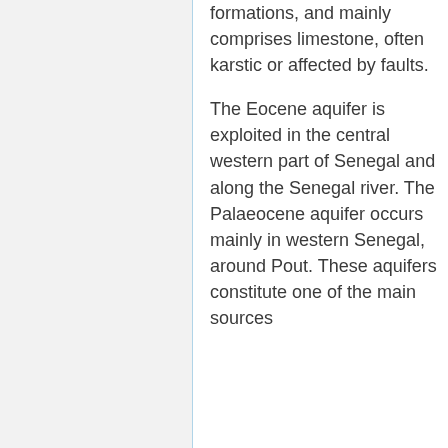formations, and mainly comprises limestone, often karstic or affected by faults.
The Eocene aquifer is exploited in the central western part of Senegal and along the Senegal river. The Palaeocene aquifer occurs mainly in western Senegal, around Pout. These aquifers constitute one of the main sources